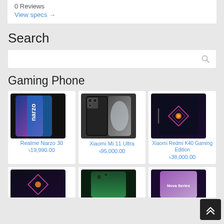0 Reviews
View specs →
Search
Gaming Phone
[Figure (photo): Realme Narzo 30 smartphone product image]
Realme Narzo 30
৳19,990.00
[Figure (photo): Xiaomi Mi 11 Ultra smartphone product image]
Xiaomi Mi 11 Ultra
৳95,000.00
[Figure (photo): Xiaomi Redmi K40 Gaming Edition smartphone product image]
Xiaomi Redmi K40 Gaming Edition
৳38,000.00
[Figure (photo): Partial phone product image row 2 item 1]
[Figure (photo): Partial phone product image row 2 item 2]
[Figure (photo): Partial phone product image row 2 item 3]